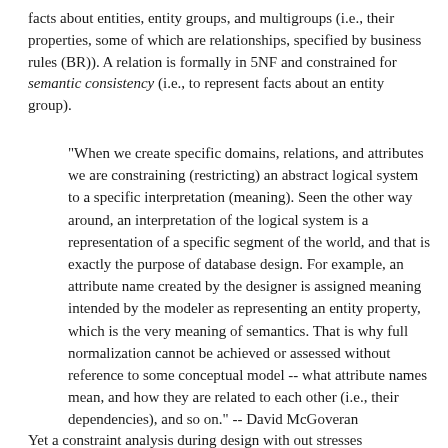facts about entities, entity groups, and multigroups (i.e., their properties, some of which are relationships, specified by business rules (BR)). A relation is formally in 5NF and constrained for semantic consistency (i.e., to represent facts about an entity group).
“When we create specific domains, relations, and attributes we are constraining (restricting) an abstract logical system to a specific interpretation (meaning). Seen the other way around, an interpretation of the logical system is a representation of a specific segment of the world, and that is exactly the purpose of database design. For example, an attribute name created by the designer is assigned meaning intended by the modeler as representing an entity property, which is the very meaning of semantics. That is why full normalization cannot be achieved or assessed without reference to some conceptual model -- what attribute names mean, and how they are related to each other (i.e., their dependencies), and so on.” -- David McGoveran
Yet a constraint analysis during design with out stresses...